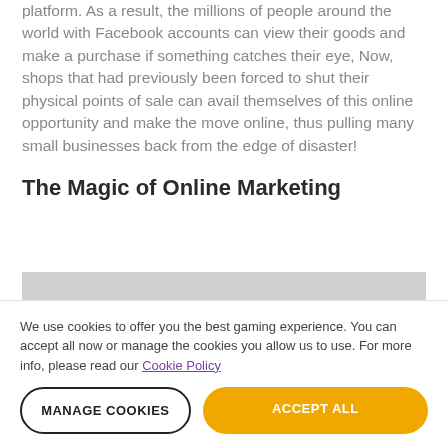platform. As a result, the millions of people around the world with Facebook accounts can view their goods and make a purchase if something catches their eye, Now, shops that had previously been forced to shut their physical points of sale can avail themselves of this online opportunity and make the move online, thus pulling many small businesses back from the edge of disaster!
The Magic of Online Marketing
[Figure (other): Gray advertisement placeholder rectangle]
We use cookies to offer you the best gaming experience. You can accept all now or manage the cookies you allow us to use. For more info, please read our Cookie Policy